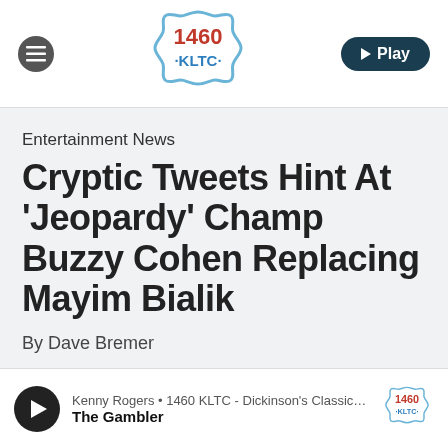[Figure (logo): 1460 KLTC radio station logo — blue scalloped badge shape with '1460' in red and '·KLTC·' in blue text]
Entertainment News
Cryptic Tweets Hint At 'Jeopardy' Champ Buzzy Cohen Replacing Mayim Bialik
By Dave Bremer
Kenny Rogers • 1460 KLTC - Dickinson's Classic Country! The Gambler